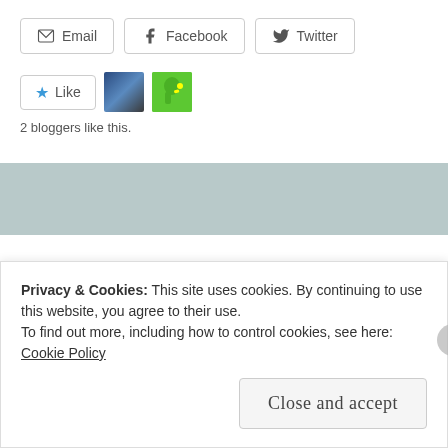[Figure (other): Social share buttons: Email, Facebook, Twitter]
[Figure (other): Like button with star icon, two blogger avatar thumbnails]
2 bloggers like this.
UNCATEGORIZED
Mending
Privacy & Cookies: This site uses cookies. By continuing to use this website, you agree to their use.
To find out more, including how to control cookies, see here: Cookie Policy
Close and accept